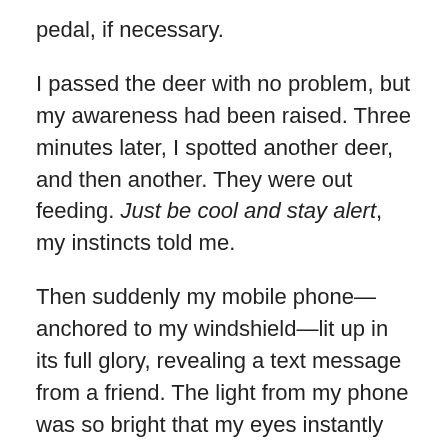pedal, if necessary.
I passed the deer with no problem, but my awareness had been raised. Three minutes later, I spotted another deer, and then another. They were out feeding. Just be cool and stay alert, my instincts told me.
Then suddenly my mobile phone—anchored to my windshield—lit up in its full glory, revealing a text message from a friend. The light from my phone was so bright that my eyes instantly darted towards it. Then in the next second, I spotted another deer ahead on the left side of the road.